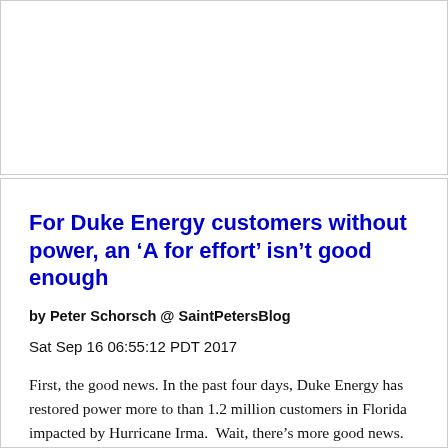[Figure (other): Advertisement or placeholder banner area (blank white panel)]
For Duke Energy customers without power, an ‘A for effort’ isn’t good enough
by Peter Schorsch @ SaintPetersBlog
Sat Sep 16 06:55:12 PDT 2017
First, the good news. In the past four days, Duke Energy has restored power more to than 1.2 million customers in Florida impacted by Hurricane Irma.  Wait, there’s more good news. Ninety-six percent of customers in Pinellas and Pasco have had their power restored. Now, the bad news. Ninety-six percent restored — an ‘A’ grade if there ever was one — is being met with derision by the local media and on social media because the company promised it would have…